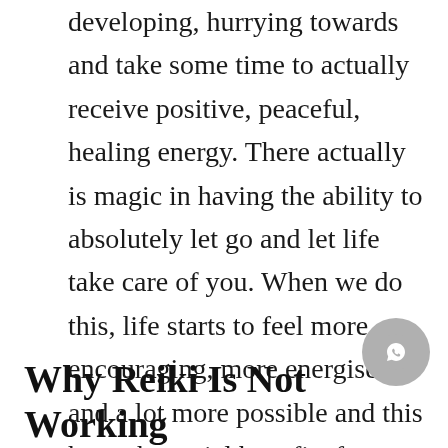developing, hurrying towards and take some time to actually receive positive, peaceful, healing energy. There actually is magic in having the ability to absolutely let go and let life take care of you. When we do this, life starts to feel more encouraging, more energised and a lot more possible and this has substantial benefits for everybody that arrives in clinic.
Why Reiki Is Not Working